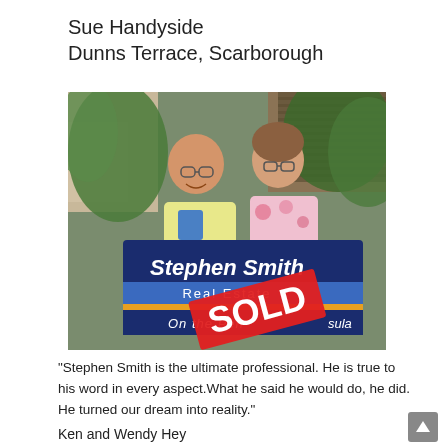Sue Handyside
Dunns Terrace, Scarborough
[Figure (photo): A man and a woman smiling and holding a Stephen Smith Real Estate 'On the Peninsula' sign with a large red SOLD sticker across it, standing outdoors with tropical plants and wooden slat structure in the background.]
"Stephen Smith is the ultimate professional. He is true to his word in every aspect.What he said he would do, he did. He turned our dream into reality."
Ken and Wendy Hey